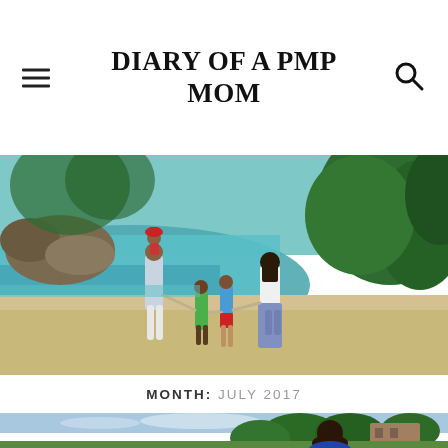DIARY OF A PMP MOM
[Figure (photo): Family of five walking along a tropical beach with turquoise water and lush green trees. An adult carries a child wearing a red hat on their shoulders, while other children hold hands with another adult.]
MONTH: JULY 2017
[Figure (photo): Woman with dark hair outdoors with blue sky, green trees, and a building visible in the background, partially cropped at the bottom of the page.]